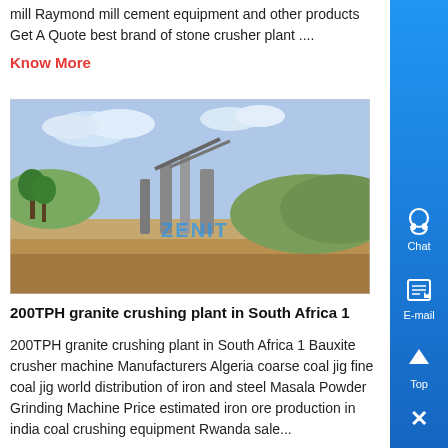mill Raymond mill cement equipment and other products Get A Quote best brand of stone crusher plant ....
Know More
[Figure (photo): Outdoor stone crushing plant facility with equipment and machinery, branded ZENIT]
200TPH granite crushing plant in South Africa 1
200TPH granite crushing plant in South Africa 1 Bauxite crusher machine Manufacturers Algeria coarse coal jig fine coal jig world distribution of iron and steel Masala Powder Grinding Machine Price estimated iron ore production in india coal crushing equipment Rwanda sale...
Know More